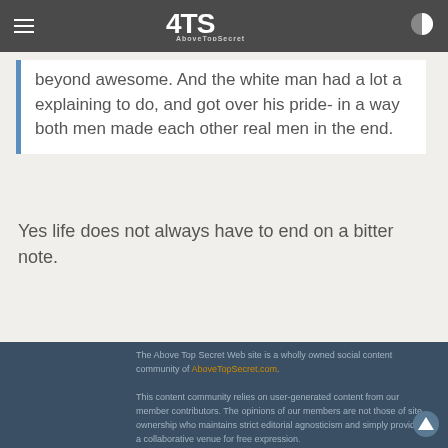4TS AboveTopSecret
beyond awesome. And the white man had a lot a explaining to do, and got over his pride- in a way both men made each other real men in the end.
Yes life does not always have to end on a bitter note.
The Above Top Secret Web site is a wholly owned social content community of AboveTopSecret.com. This content community relies on user-generated content from our member contributors. The opinions of our members are not those of site ownership who maintains strict editorial agnosticism and simply provides a collaborative venue for free expression.